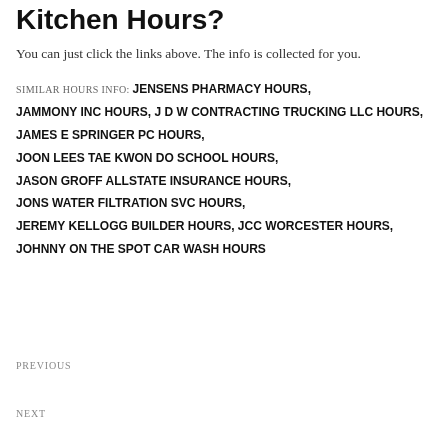Kitchen Hours?
You can just click the links above. The info is collected for you.
SIMILAR HOURS INFO: JENSENS PHARMACY HOURS, JAMMONY INC HOURS, J D W CONTRACTING TRUCKING LLC HOURS, JAMES E SPRINGER PC HOURS, JOON LEES TAE KWON DO SCHOOL HOURS, JASON GROFF ALLSTATE INSURANCE HOURS, JONS WATER FILTRATION SVC HOURS, JEREMY KELLOGG BUILDER HOURS, JCC WORCESTER HOURS, JOHNNY ON THE SPOT CAR WASH HOURS
PREVIOUS
NEXT